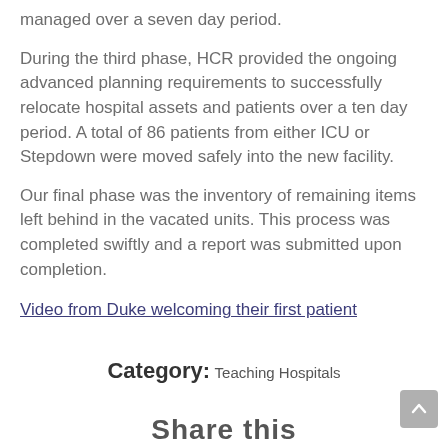managed over a seven day period.
During the third phase, HCR provided the ongoing advanced planning requirements to successfully relocate hospital assets and patients over a ten day period. A total of 86 patients from either ICU or Stepdown were moved safely into the new facility.
Our final phase was the inventory of remaining items left behind in the vacated units. This process was completed swiftly and a report was submitted upon completion.
Video from Duke welcoming their first patient
Category: Teaching Hospitals
Share this